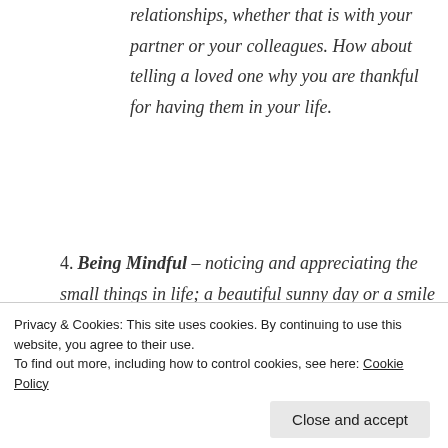relationships, whether that is with your partner or your colleagues. How about telling a loved one why you are thankful for having them in your life.
4. Being Mindful – noticing and appreciating the small things in life; a beautiful sunny day or a smile from a
Privacy & Cookies: This site uses cookies. By continuing to use this website, you agree to their use. To find out more, including how to control cookies, see here: Cookie Policy
Close and accept